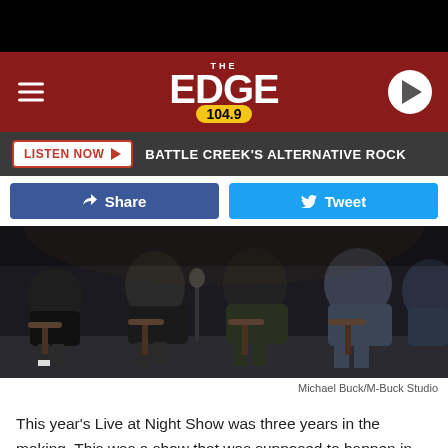[Figure (logo): The Edge 104.9 radio station logo on dark red background with hamburger menu and play button]
[Figure (infographic): Navigation bar with LISTEN NOW button and BATTLE CREEK'S ALTERNATIVE ROCK text]
[Figure (infographic): Social share buttons: Facebook Share and Twitter Tweet]
[Figure (photo): Black and white photo of people sitting on stools/chairs on a stage, lower body visible, at Live at Night Show]
Michael Buck/M-Buck Studio
This year's Live at Night Show was three years in the making. This was a show that was supposed to happen in 2020 but